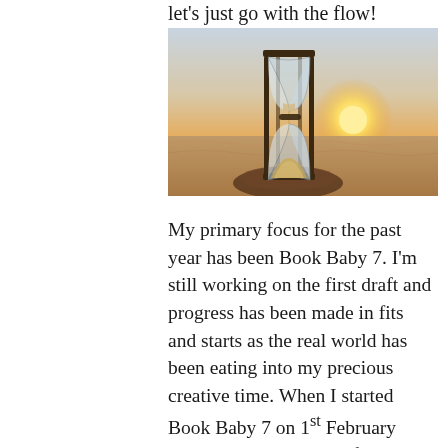let's just go with the flow!
[Figure (photo): An hourglass sitting on a rock at a beach during sunset, with warm golden light and ocean waves in the background.]
My primary focus for the past year has been Book Baby 7. I'm still working on the first draft and progress has been made in fits and starts as the real world has been eating into my precious creative time. When I started Book Baby 7 on 1st February 2021, I promised myself that I wouldn't rush it and would take my time and I have. I'm still on track with the timeframe I have in my head for